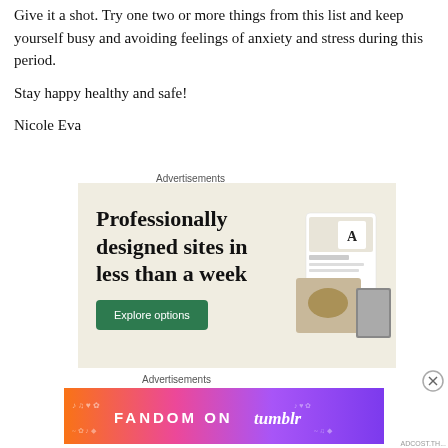Give it a shot. Try one two or more things from this list and keep yourself busy and avoiding feelings of anxiety and stress during this period.
Stay happy healthy and safe!
Nicole Eva
Advertisements
[Figure (illustration): Web design advertisement with beige background showing text 'Professionally designed sites in less than a week' with a green 'Explore options' button and website mockup images on the right]
[Figure (other): Close button (X in circle) for advertisement]
Advertisements
[Figure (illustration): Fandom on Tumblr colorful gradient banner advertisement with orange, pink, and purple colors and white doodle icons]